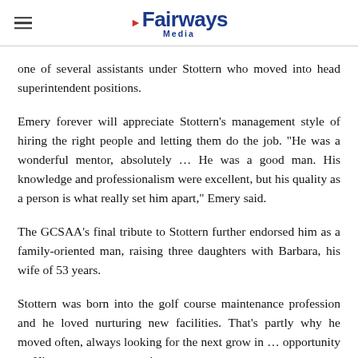Fairways Media
one of several assistants under Stottern who moved into head superintendent positions.
Emery forever will appreciate Stottern's management style of hiring the right people and letting them do the job. "He was a wonderful mentor, absolutely … He was a good man. His knowledge and professionalism were excellent, but his quality as a person is what really set him apart," Emery said.
The GCSAA's final tribute to Stottern further endorsed him as a family-oriented man, raising three daughters with Barbara, his wife of 53 years.
Stottern was born into the golf course maintenance profession and he loved nurturing new facilities. That's partly why he moved often, always looking for the next grow in … opportunity … His … course construction